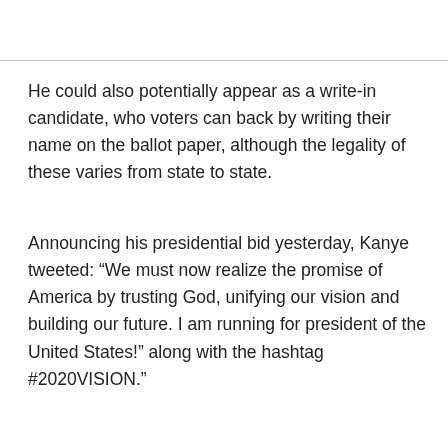He could also potentially appear as a write-in candidate, who voters can back by writing their name on the ballot paper, although the legality of these varies from state to state.
Announcing his presidential bid yesterday, Kanye tweeted: “We must now realize the promise of America by trusting God, unifying our vision and building our future. I am running for president of the United States!” along with the hashtag #2020VISION.”